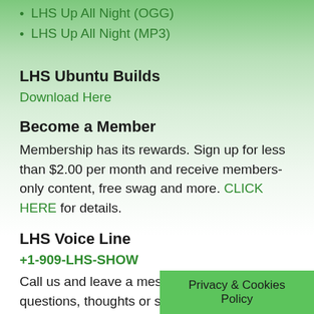LHS Up All Night (OGG)
LHS Up All Night (MP3)
LHS Ubuntu Builds
Download Here
Become a Member
Membership has its rewards. Sign up for less than $2.00 per month and receive members-only content, free swag and more. CLICK HERE for details.
LHS Voice Line
+1-909-LHS-SHOW
Call us and leave a message with your questions, thoughts or suggestions. We love feedback!
Blogroll
Privacy & Cookies Policy